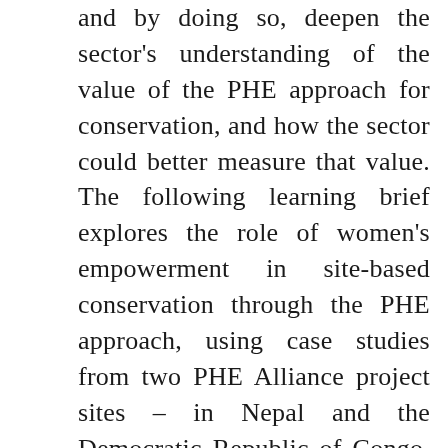and by doing so, deepen the sector's understanding of the value of the PHE approach for conservation, and how the sector could better measure that value. The following learning brief explores the role of women's empowerment in site-based conservation through the PHE approach, using case studies from two PHE Alliance project sites – in Nepal and the Democratic Republic of Congo. The brief concludes that women's empowerment is a viable justification for implementing PHE projects to improve conservation outcomes, as well as an